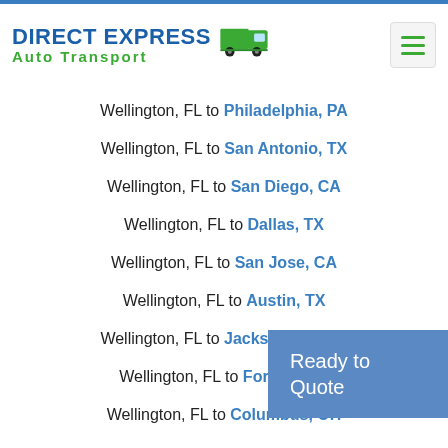[Figure (logo): Direct Express Auto Transport logo with truck icon and green/blue text]
Wellington, FL to Philadelphia, PA
Wellington, FL to San Antonio, TX
Wellington, FL to San Diego, CA
Wellington, FL to Dallas, TX
Wellington, FL to San Jose, CA
Wellington, FL to Austin, TX
Wellington, FL to Jacksonville, FL
Wellington, FL to Fort Worth, TX
Wellington, FL to Columbus, OH